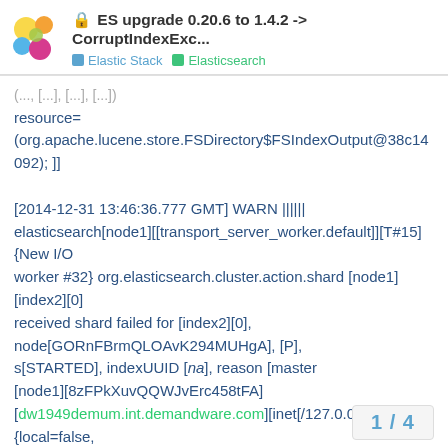ES upgrade 0.20.6 to 1.4.2 -> CorruptIndexExc... | Elastic Stack | Elasticsearch
resource=
(org.apache.lucene.store.FSDirectory$FSIndexOutput@38c14092); ]]

[2014-12-31 13:46:36.777 GMT] WARN ||||||
elasticsearch[node1][[transport_server_worker.default]][T#15]
{New I/O
worker #32} org.elasticsearch.cluster.action.shard [node1]
[index2][0]
received shard failed for [index2][0],
node[GORnFBrmQLOAvK294MUHgA], [P],
s[STARTED], indexUUID [na], reason [master
[node1][8zFPkXuvQQWJvErc458tFA]
[dw1949demum.int.demandware.com][inet[/127.0.0.1:48003]]
{local=false,
power_zone=default} marked shard as started, but shard has not been
created, mark shard as failed]
1 / 4